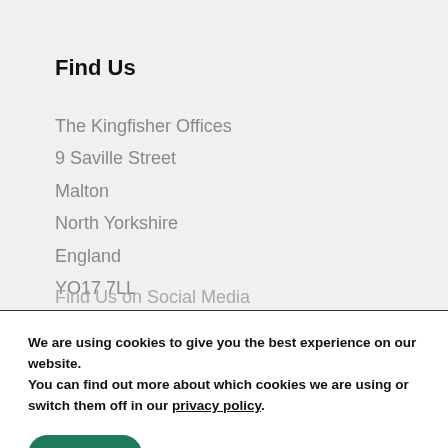Find Us
The Kingfisher Offices
9 Saville Street
Malton
North Yorkshire
England
YO17 7LL
Find Us on Social Media
We are using cookies to give you the best experience on our website.
You can find out more about which cookies we are using or switch them off in our privacy policy.
Accept